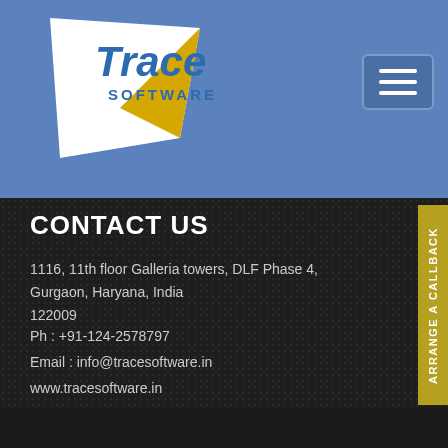[Figure (logo): Trace Software logo with white kite/arrow shape and yellow accent on blue background]
[Figure (other): Hamburger menu button (three horizontal lines) on blue rounded rectangle]
CONTACT US
1116, 11th floor Galleria towers, DLF Phase 4,
Gurgaon, Haryana, India
122009
Ph : +91-124-2578797
Email : info@tracesoftware.in
www.tracesoftware.in
SERVICE
GIS based applications
CRM development